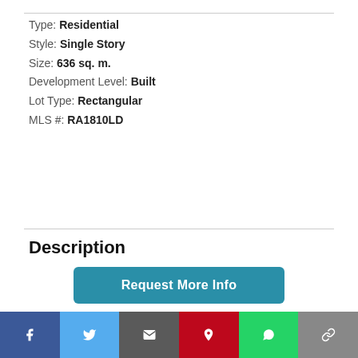Type: Residential
Style: Single Story
Size: 636 sq. m.
Development Level: Built
Lot Type: Rectangular
MLS #: RA1810LD
Description
Villa Rocas del Mar is strategically situated on the rock cliff just above the mighty Pacific Ocean, overlooking the Gulf of Nicova, very private and quite end of road location with
Request More Info